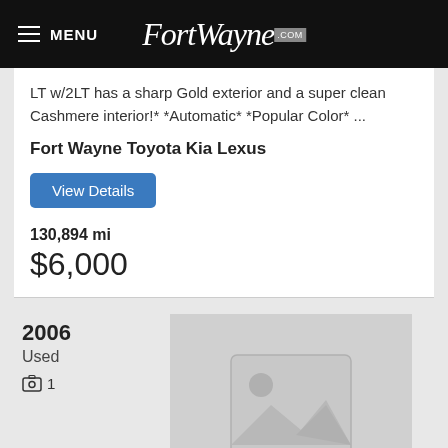MENU FortWayne.com
LT w/2LT has a sharp Gold exterior and a super clean Cashmere interior!* *Automatic* *Popular Color* ...
Fort Wayne Toyota Kia Lexus
View Details
130,894 mi
$6,000
[Figure (photo): Placeholder image with mountain/photo icon]
2006
Used
1